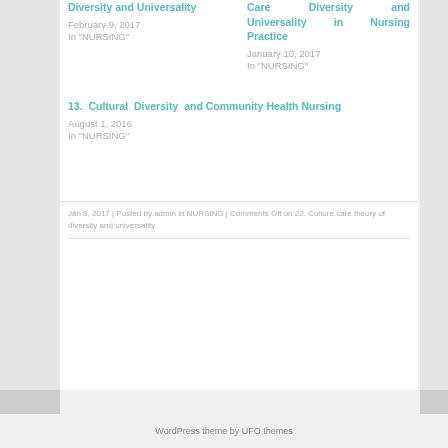Diversity and Universality
February 9, 2017
In "NURSING"
Care Diversity and Universality in Nursing Practice
January 10, 2017
In "NURSING"
13. Cultural Diversity and Community Health Nursing
August 1, 2016
In "NURSING"
Jan 8, 2017 | Posted by admin in NURSING | Comments Off on 22. Culture care theory of diversity and universality
WordPress theme by UFO themes